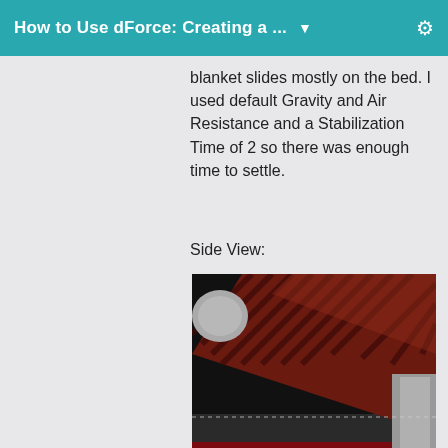How to Use dForce: Creating a ...
blanket slides mostly on the bed. I used default Gravity and Air Resistance and a Stabilization Time of 2 so there was enough time to settle.
Side View:
[Figure (photo): Side view of a 3D rendered scene showing a dark red/maroon striped blanket draped over a bed with gray and dark bedding, viewed from an angle showing the bed frame and mattress layers.]